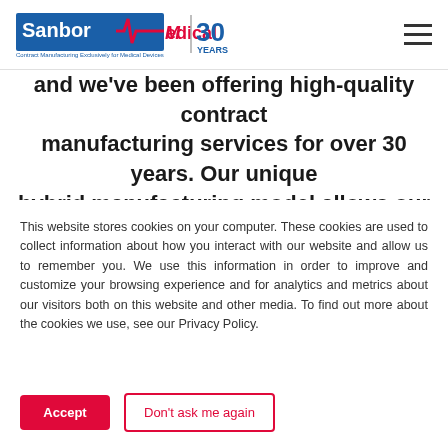Sanbor Medical | Contract Manufacturing Exclusively for Medical Devices | 30 YEARS
and we've been offering high-quality contract manufacturing services for over 30 years. Our unique hybrid manufacturing model allows our OEM partners to save a significant amount of time and money on the
This website stores cookies on your computer. These cookies are used to collect information about how you interact with our website and allow us to remember you. We use this information in order to improve and customize your browsing experience and for analytics and metrics about our visitors both on this website and other media. To find out more about the cookies we use, see our Privacy Policy.
Accept
Don't ask me again